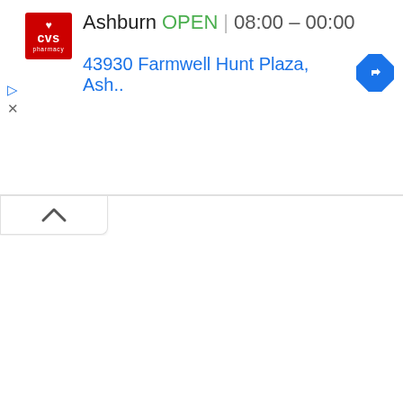[Figure (screenshot): CVS Pharmacy logo — red square with white heart and 'cvs pharmacy' text]
Ashburn   OPEN   08:00 – 00:00
43930 Farmwell Hunt Plaza, Ash..
[Figure (other): Blue diamond navigation/directions icon with right-turn arrow]